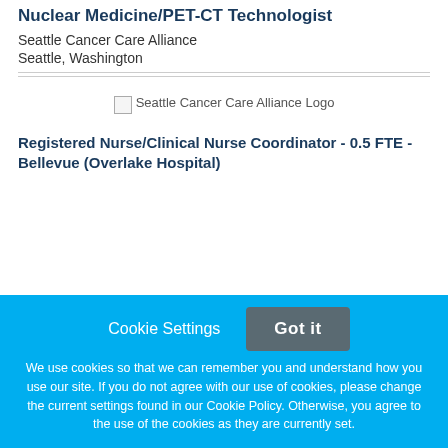Nuclear Medicine/PET-CT Technologist
Seattle Cancer Care Alliance
Seattle, Washington
[Figure (logo): Seattle Cancer Care Alliance Logo (broken image placeholder)]
Registered Nurse/Clinical Nurse Coordinator - 0.5 FTE - Bellevue (Overlake Hospital)
Cookie Settings   Got it

We use cookies so that we can remember you and understand how you use our site. If you do not agree with our use of cookies, please change the current settings found in our Cookie Policy. Otherwise, you agree to the use of the cookies as they are currently set.